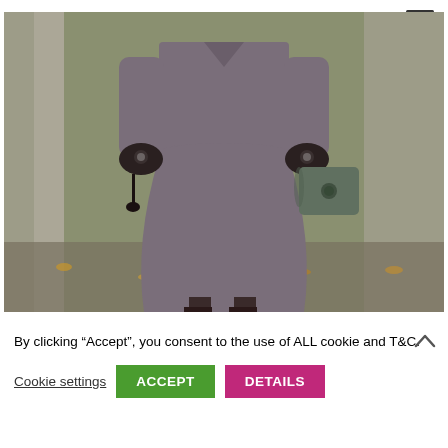[Figure (photo): Woman in grey tweed suit (jacket and skirt) holding sunglasses and a dark handbag, wearing black gloves, standing outdoors with autumn leaves on ground]
By clicking “Accept”, you consent to the use of ALL cookie and T&C.
Cookie settings   ACCEPT   DETAILS